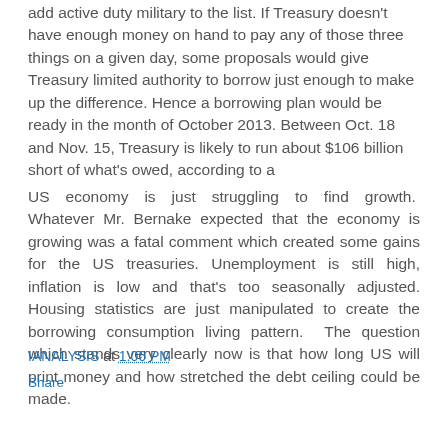add active duty military to the list. If Treasury doesn't have enough money on hand to pay any of those three things on a given day, some proposals would give Treasury limited authority to borrow just enough to make up the difference. Hence a borrowing plan would be ready in the month of October 2013. Between Oct. 18 and Nov. 15, Treasury is likely to run about $106 billion short of what's owed, according to a
US economy is just struggling to find growth. Whatever Mr. Bernake expected that the economy is growing was a fatal comment which created some gains for the US treasuries. Unemployment is still high, inflation is low and that's too seasonally adjusted. Housing statistics are just manipulated to create the borrowing consumption living pattern. The question which stands very clearly now is that how long US will print money and how stretched the debt ceiling could be made.
IANALYSIS at 1:06 PM
Share